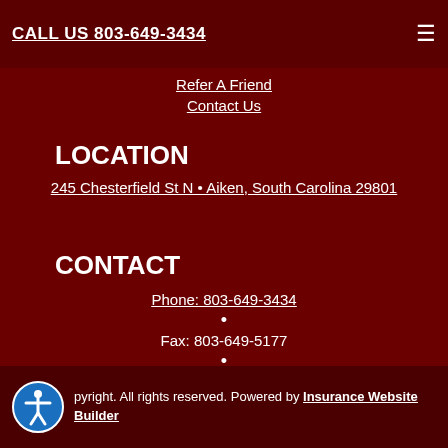CALL US 803-649-3434
Refer A Friend
Contact Us
LOCATION
245 Chesterfield St N • Aiken, South Carolina 29801
CONTACT
Phone: 803-649-3434
•
Fax: 803-649-5177
•
Email: info@batessmithstricklandins.com
Copyright. All rights reserved. Powered by Insurance Website Builder